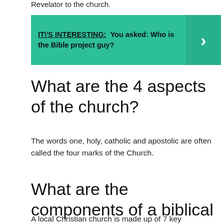Revelator to the church.
[Figure (infographic): Teal banner with bold text: IT\'S INTERESTING: You asked: Who is the Bible project guy? with a right-pointing arrow chevron on the right side.]
What are the 4 aspects of the church?
The words one, holy, catholic and apostolic are often called the four marks of the Church.
What are the components of a biblical church?
A local Christian church is made up of 7 key elements: